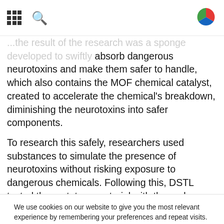[grid icon] [search icon] [logo]
...the result of the research was a sponge developed to swiftly absorb dangerous neurotoxins and make them safer to handle, which also contains the MOF chemical catalyst, created to accelerate the chemical's breakdown, diminishing the neurotoxins into safer components.
To research this safely, researchers used substances to simulate the presence of neurotoxins without risking exposure to dangerous chemicals. Following this, DSTL tested the prototype material with the real nerve agent to confirm the effect.
We use cookies on our website to give you the most relevant experience by remembering your preferences and repeat visits. By clicking "Accept All", you consent to the use of ALL the cookies. However, you may visit "Cookie Settings" to provide a controlled consent.
Cookie Settings | Accept All